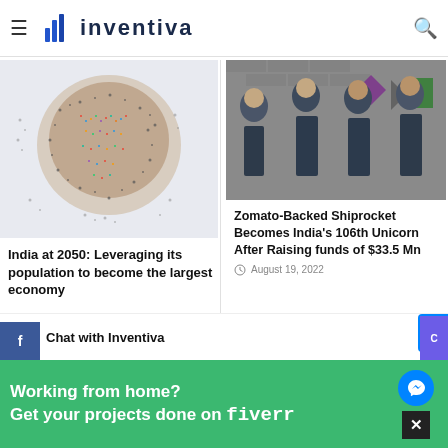Inventiva
Highest quarterly profit of any — loops to get into China Duty aeroplanes amid sky-high prices
[Figure (photo): Aerial view of people forming the shape of India map]
India at 2050: Leveraging its population to become the largest economy
[Figure (photo): Four men in suits standing in front of a wall with purple geometric logo — Shiprocket team]
Zomato-Backed Shiprocket Becomes India's 106th Unicorn After Raising funds of $33.5 Mn
August 19, 2022
Chat with Inventiva
Working from home?
Get your projects done on fiverr